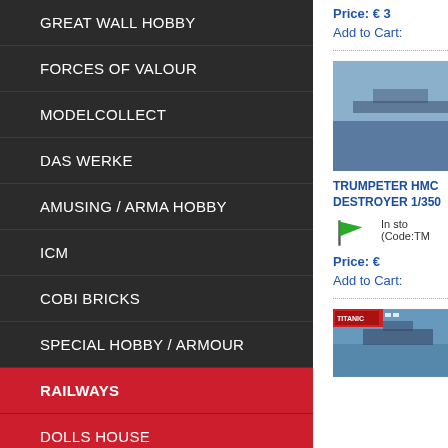GREAT WALL HOBBY
FORCES OF VALOUR
MODELCOLLECT
DAS WERKE
AMUSING / ARMA HOBBY
ICM
COBI BRICKS
SPECIAL HOBBY / ARMOUR
RAILWAYS
DOLLS HOUSE
DIECAST VEHICLES
Price: € 3
Add to Cart:
[Figure (photo): Ship/destroyer model kit product photo, partially visible]
TRUMPETER HMC DESTROYER 1/350
In stock (Code:TM
Price: €
Add to Cart:
[Figure (photo): Another model kit product photo, partially visible at bottom right]